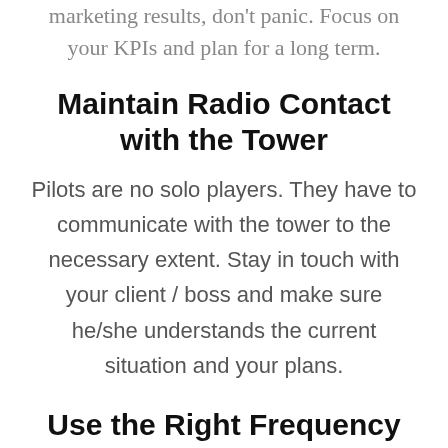marketing results, don't panic. Focus on your KPIs and plan for a long term.
Maintain Radio Contact with the Tower
Pilots are no solo players. They have to communicate with the tower to the necessary extent. Stay in touch with your client / boss and make sure he/she understands the current situation and your plans.
Use the Right Frequency
Always use the frequency the air traffic